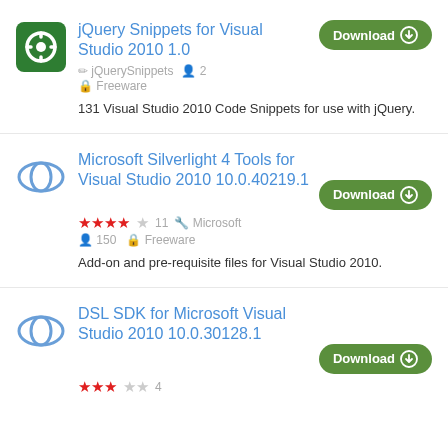jQuery Snippets for Visual Studio 2010 1.0 | jQuerySnippets | 2 users | Freeware | 131 Visual Studio 2010 Code Snippets for use with jQuery.
Microsoft Silverlight 4 Tools for Visual Studio 2010 10.0.40219.1 | 4 stars | 11 | Microsoft | 150 users | Freeware | Add-on and pre-requisite files for Visual Studio 2010.
DSL SDK for Microsoft Visual Studio 2010 10.0.30128.1 | 3 stars | 4 | Download